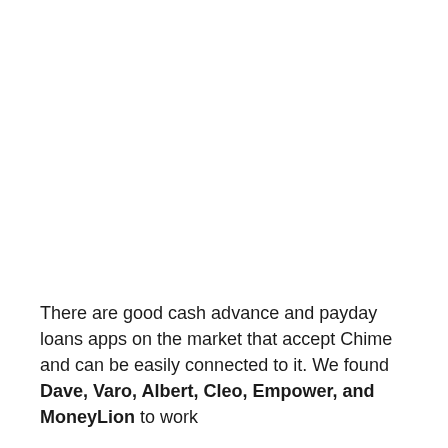There are good cash advance and payday loans apps on the market that accept Chime and can be easily connected to it. We found Dave, Varo, Albert, Cleo, Empower, and MoneyLion to work best in connecting to Chime.